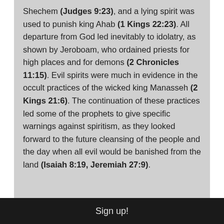Shechem (Judges 9:23), and a lying spirit was used to punish king Ahab (1 Kings 22:23). All departure from God led inevitably to idolatry, as shown by Jeroboam, who ordained priests for high places and for demons (2 Chronicles 11:15). Evil spirits were much in evidence in the occult practices of the wicked king Manasseh (2 Kings 21:6). The continuation of these practices led some of the prophets to give specific warnings against spiritism, as they looked forward to the future cleansing of the people and the day when all evil would be banished from the land (Isaiah 8:19, Jeremiah 27:9).
Sign up!